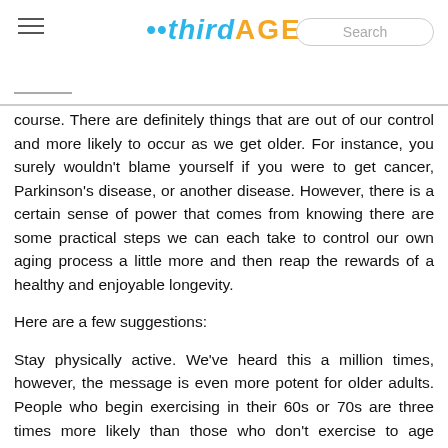thirdAGE — Search
course. There are definitely things that are out of our control and more likely to occur as we get older. For instance, you surely wouldn't blame yourself if you were to get cancer, Parkinson's disease, or another disease. However, there is a certain sense of power that comes from knowing there are some practical steps we can each take to control our own aging process a little more and then reap the rewards of a healthy and enjoyable longevity.
Here are a few suggestions:
Stay physically active. We've heard this a million times, however, the message is even more potent for older adults. People who begin exercising in their 60s or 70s are three times more likely than those who don't exercise to age healthfully and not develop a major